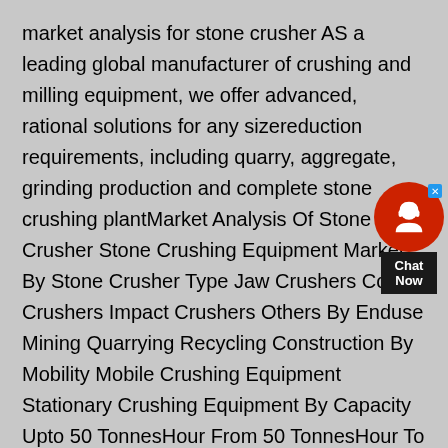market analysis for stone crusher AS a leading global manufacturer of crushing and milling equipment, we offer advanced, rational solutions for any sizereduction requirements, including quarry, aggregate, grinding production and complete stone crushing plantMarket Analysis Of Stone Crusher Stone Crushing Equipment Market By Stone Crusher Type Jaw Crushers Cone Crushers Impact Crushers Others By Enduse Mining Quarrying Recycling Construction By Mobility Mobile Crushing Equipment Stationary Crushing Equipment By Capacity Upto 50 TonnesHour From 50 TonnesHour To 200 TonnesHour More Than 200Market Analysis Of Stone Crusher04/01/2019· Market Analysis —on the cone crusher and its application in stone crushing in Uzbekistan Time  From VANGUARD  Font Big middle Small  The cone crusher is a crushing machine suitable for raw materials in the metallurgy, construction, road construction, chemical and silicate industries It is divided into
[Figure (other): Chat Now widget with red circular icon showing a headset/support icon, close button (x) in blue, and 'Chat Now' label on dark background]